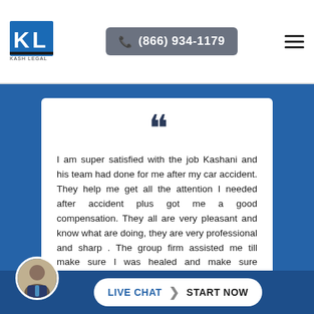[Figure (logo): Kash Legal logo with KL monogram in blue and black]
(866) 934-1179
I am super satisfied with the job Kashani and his team had done for me after my car accident. They help me get all the attention I needed after accident plus got me a good compensation. They all are very pleasant and know what are doing, they are very professional and sharp . The group firm assisted me till make sure I was healed and make sure everything was paid by other inran
LIVE CHAT   START NOW